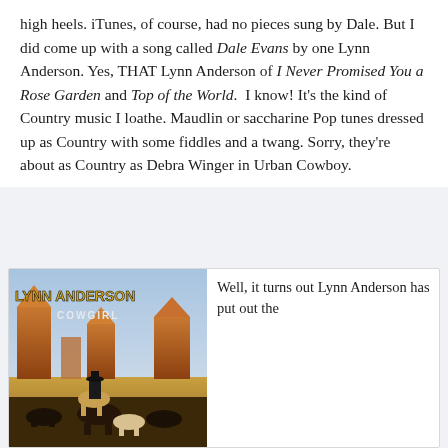high heels. iTunes, of course, had no pieces sung by Dale. But I did come up with a song called Dale Evans by one Lynn Anderson. Yes, THAT Lynn Anderson of I Never Promised You a Rose Garden and Top of the World.  I know! It's the kind of Country music I loathe. Maudlin or saccharine Pop tunes dressed up as Country with some fiddles and a twang. Sorry, they're about as Country as Debra Winger in Urban Cowboy.
[Figure (photo): Lynn Anderson 'Cowgirl' album cover showing a woman on horseback in a western desert landscape with Monument Valley rock formations in the background and cattle in the foreground. The title 'LYNN ANDERSON' appears in large gold letters at the top and 'COWGIRL' in white below.]
Well, it turns out Lynn Anderson has put out the